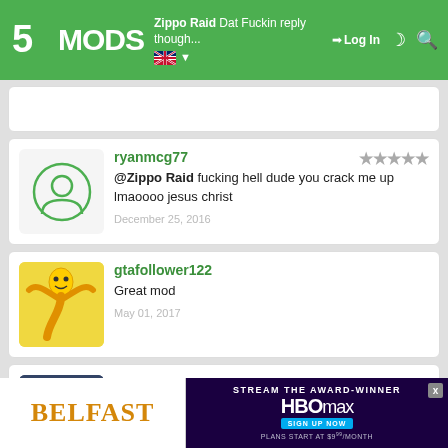5MODS | Zippo Raid Dat Fuckin reply though... | Log In
ryanmcg77 — @Zippo Raid fucking hell dude you crack me up lmaoooo jesus christ — December 25, 2016
gtafollower122 — Great mod — May 01, 2017
P1P3L1N3 — @ZiPPO RAID — DUDE YOU ONCE HAD THAT iNTRO FROM THE PREViEW ViDEO AS A REPLACE FOR THE GTA V STARTiNG iNTRO. iS iT GONE OR CAN i STiLL GET
[Figure (screenshot): Advertisement banner: BELFAST | HBO Max Stream the Award-Winner, Sign Up Now, Plans start at $9.99/month]